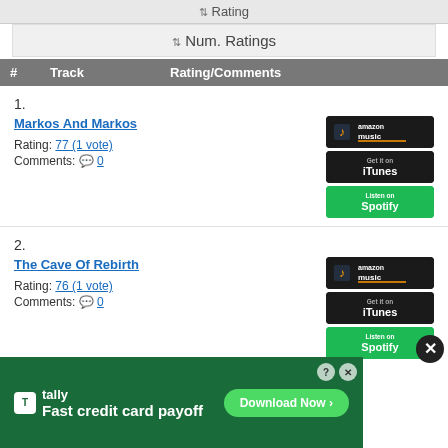⇅ Rating
⇅ Num. Ratings
| # | Track | Rating/Comments |
| --- | --- | --- |
| 1. | Markos And Markos | Rating: 77 (1 vote)
Comments: 0 |
| 2. | The Cave Of Rebirth | Rating: 76 (1 vote)
Comments: 0 |
[Figure (screenshot): Advertisement banner for Tally app - Fast credit card payoff, with Download Now button]
[Figure (other): Close button (X circle) for the advertisement]